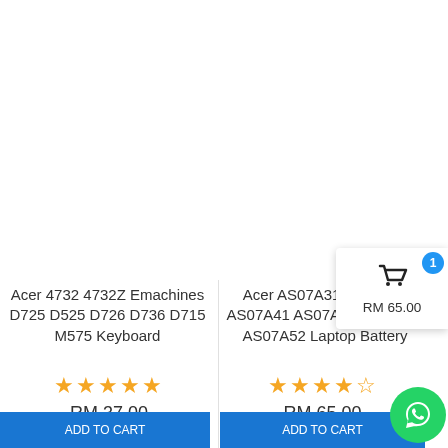Acer 4732 4732Z Emachines D725 D525 D726 D736 D715 M575 Keyboard
★★★★★
RM 37.00
Acer AS07A31 AS07A32 AS07A41 AS07A42 AS07A51 AS07A52 Laptop Battery
★★★★☆
RM 65.00
RM 65.00
1